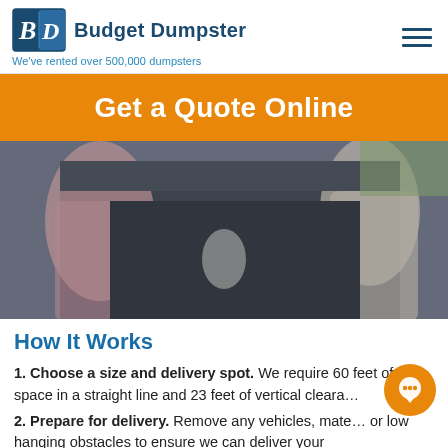Budget Dumpster — We've rented over 500,000 dumpsters
Get a Quote Online
[Figure (photo): Two people standing next to a large dumpster, one on each side. The person on the left wearing pink, the one on the right in light clothing touching the dumpster lid.]
How It Works
1. Choose a size and delivery spot. We require 60 feet of space in a straight line and 23 feet of vertical clearance.
2. Prepare for delivery. Remove any vehicles, materials or low hanging obstacles to ensure we can deliver your